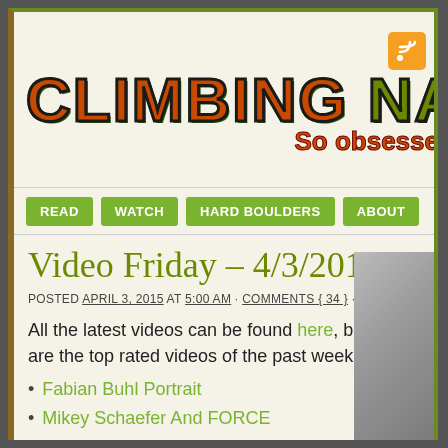[Figure (logo): Climbing Narc website logo with brick-textured orange and green text, RSS icon top right, tagline 'So obsesse' partially visible]
READ  WATCH  HARD BOULDERS  ABOUT
Video Friday – 4/3/2015
POSTED APRIL 3, 2015 AT 5:00 AM · COMMENTS { 34 } ·
All the latest videos can be found here, but here are the top rated videos of the past week:
Fabian Buhl Portrait
Mikey Schaefer And FORCE
Project Fear